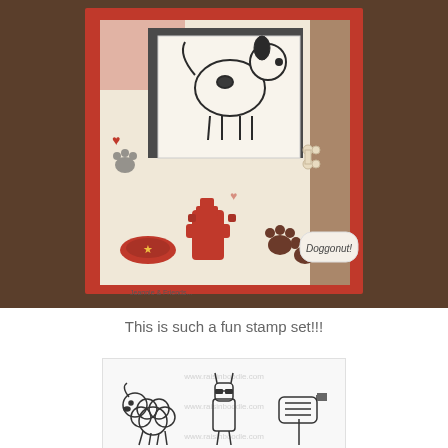[Figure (photo): A handmade greeting card featuring dog-themed patterned paper with red border, a stamped white dog image, fire hydrant, paw prints, and 'Doggonut!' text stamp, displayed on a wooden background.]
This is such a fun stamp set!!!
[Figure (photo): Line art stamp set showing cartoon animals including a fluffy sheep/dog, a tall dog with sunglasses, and a mailbox/post. Watermarked with 'www.raisinboodle.com'.]